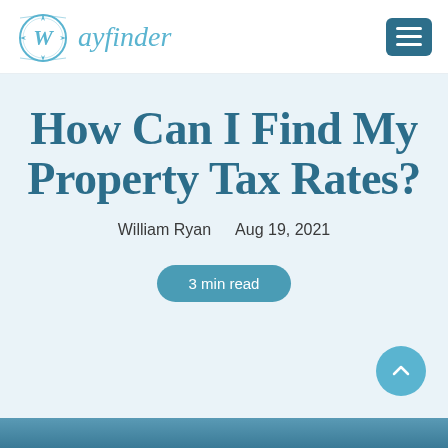[Figure (logo): Wayfinder logo: compass circle with 'W' letter and 'Wayfinder' text in teal/light blue]
How Can I Find My Property Tax Rates?
William Ryan   Aug 19, 2021
3 min read
[Figure (photo): Bottom strip of a photo, partially visible at the bottom of the page]